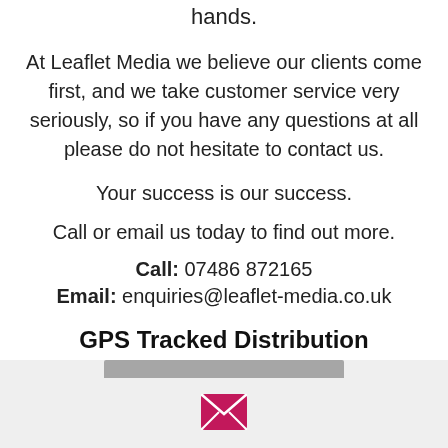hands.
At Leaflet Media we believe our clients come first, and we take customer service very seriously, so if you have any questions at all please do not hesitate to contact us.
Your success is our success.
Call or email us today to find out more.
Call: 07486 872165
Email: enquiries@leaflet-media.co.uk
GPS Tracked Distribution
[Figure (other): Bottom area with envelope/email icon on a light grey background, partially visible laptop or device at top edge]